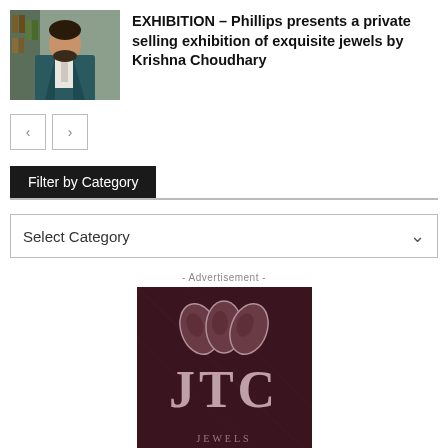[Figure (photo): Portrait photo of a man in a teal suit jacket and white shirt]
EXHIBITION – Phillips presents a private selling exhibition of exquisite jewels by Krishna Choudhary
[Figure (other): Navigation arrows: left arrow and right arrow buttons]
Filter by Category
Select Category
- Advertisement -
[Figure (logo): JTC Jewels logo on dark maroon background with three oval gem shapes]